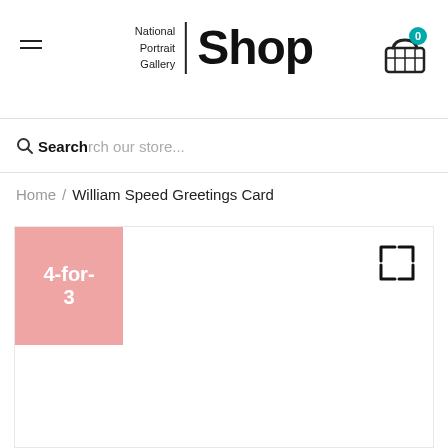National Portrait Gallery | Shop
Search our store...
Home / William Speed Greetings Card
[Figure (screenshot): Product page for William Speed Greetings Card on National Portrait Gallery Shop. Shows a product image area with a pink '4-for-3' promotional badge in the top-left corner and an expand/fullscreen icon in the top-right corner. The product image area is largely white/empty in this view.]